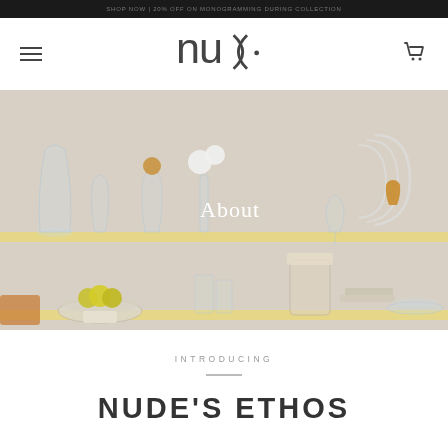SHOP NOW | 20% OFF ON MONOGRAMMING DURING COLLECTION
[Figure (logo): NUDE glassware brand logo in dark gray]
[Figure (photo): Lifestyle photo of glassware and home objects on shelves with text 'About' overlaid]
INTRODUCING
NUDE'S ETHOS